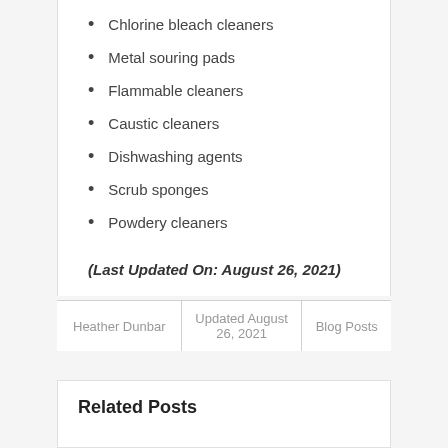Chlorine bleach cleaners
Metal souring pads
Flammable cleaners
Caustic cleaners
Dishwashing agents
Scrub sponges
Powdery cleaners
(Last Updated On: August 26, 2021)
| Heather Dunbar | Updated August
26, 2021 | Blog Posts |
Related Posts